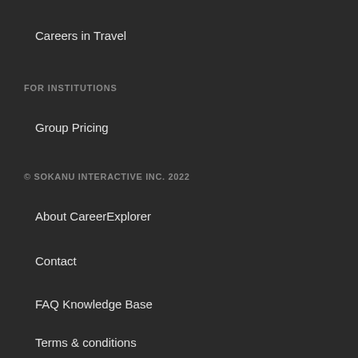Careers in Travel
FOR INSTITUTIONS
Group Pricing
© SOKANU INTERACTIVE INC. 2022
About CareerExplorer
Contact
FAQ Knowledge Base
Terms & conditions
Privacy